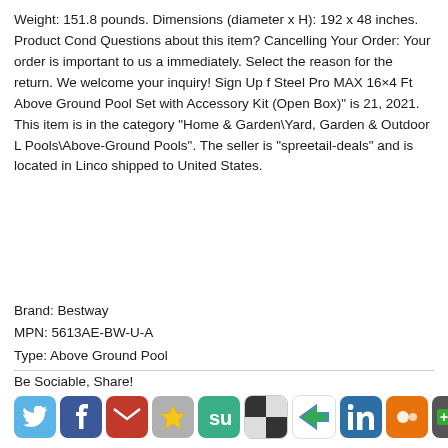Weight: 151.8 pounds. Dimensions (diameter x H): 192 x 48 inches. Product Cond Questions about this item? Cancelling Your Order: Your order is important to us a immediately. Select the reason for the return. We welcome your inquiry! Sign Up f Steel Pro MAX 16×4 Ft Above Ground Pool Set with Accessory Kit (Open Box)" is 21, 2021. This item is in the category "Home & Garden\Yard, Garden & Outdoor L Pools\Above-Ground Pools". The seller is "spreetail-deals" and is located in Linco shipped to United States.
Brand: Bestway
MPN: 5613AE-BW-U-A
Type: Above Ground Pool
Be Sociable, Share!
[Figure (screenshot): Social sharing buttons: Twitter, Facebook, Gmail, Favorites (star), StumbleUpon, Delicious, Google+, LinkedIn, MySpace, and a +MORE button]
[Figure (screenshot): Tweet button with Twitter bird icon]
October 12th, 2021 in bestway | tags: 16x4, accessory, b
[Figure (photo): Partial image of above ground pool or product, light beige/white tones at bottom of page]